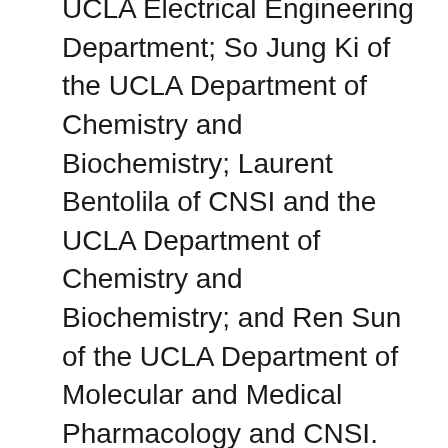UCLA Electrical Engineering Department; So Jung Ki of the UCLA Department of Chemistry and Biochemistry; Laurent Bentolila of CNSI and the UCLA Department of Chemistry and Biochemistry; and Ren Sun of the UCLA Department of Molecular and Medical Pharmacology and CNSI.
For more information on the Ozcan Research Group, visit http://org.ee.ucla.edu/ Ozcan is a founder of the mobile microanalysis startup company Holomic LLC, which seeks to commercialize imaging and sensing technologies licensed from the UCLA Office of Intellectual Property and Industry Sponsored Research